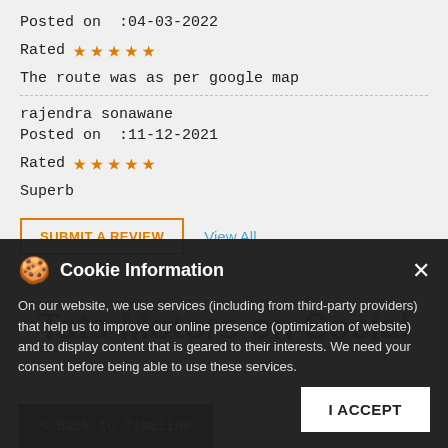Posted on  :04-03-2022
[Figure (other): 5 orange stars rating]
The route was as per google map
rajendra sonawane
Posted on  :11-12-2021
[Figure (other): 5 orange stars rating]
Superb
SUBMIT A REVIEW   View All
Cookie Information
On our website, we use services (including from third-party providers) that help us to improve our online presence (optimization of website) and to display content that is geared to their interests. We need your consent before being able to use these services.
Tata Motors on Social
I ACCEPT
< Back to Timeline